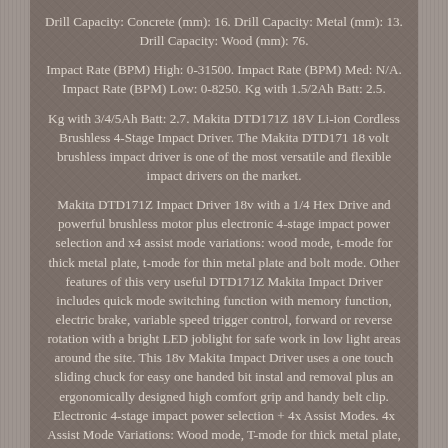Drill Capacity: Concrete (mm): 16. Drill Capacity: Metal (mm): 13. Drill Capacity: Wood (mm): 76.
Impact Rate (BPM) High: 0-31500. Impact Rate (BPM) Med: N/A. Impact Rate (BPM) Low: 0-8250. Kg with 1.5/2Ah Batt: 2.5.
Kg with 3/4/5Ah Batt: 2.7. Makita DTD171Z 18V Li-ion Cordless Brushless 4-Stage Impact Driver. The Makita DTD171 18 volt brushless impact driver is one of the most versatile and flexible impact drivers on the market.
Makita DTD171Z Impact Driver 18v with a 1/4 Hex Drive and powerful brushless motor plus electronic 4-stage impact power selection and x4 assist mode variations: wood mode, t-mode for thick metal plate, t-mode for thin metal plate and bolt mode. Other features of this very useful DTD171Z Makita Impact Driver includes quick mode switching function with memory function, electric brake, variable speed trigger control, forward or reverse rotation with a bright LED joblight for safe work in low light areas around the site. This 18v Makita Impact Driver uses a one touch sliding chuck for easy one handed bit instal and removal plus an ergonomically designed high comfort grip and handy belt clip. Electronic 4-stage impact power selection + 4x Assist Modes. 4x Assist Mode Variations: Wood mode, T-mode for thick metal plate, T-mode for thin metal plate and Bolt Mode. Quick mode switching function with memory function. Ergonomically designed high comfort grip.